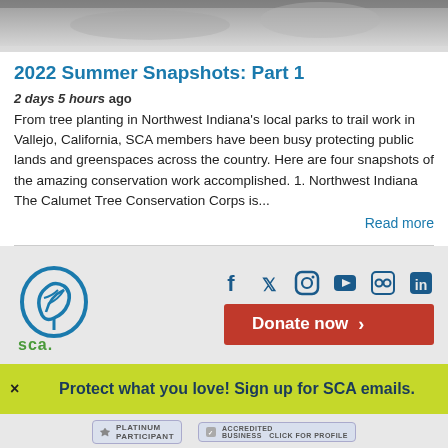[Figure (photo): Top portion of a photo showing outdoor scene with people working, partially cropped]
2022 Summer Snapshots: Part 1
2 days 5 hours ago
From tree planting in Northwest Indiana's local parks to trail work in Vallejo, California, SCA members have been busy protecting public lands and greenspaces across the country. Here are four snapshots of the amazing conservation work accomplished. 1. Northwest Indiana The Calumet Tree Conservation Corps is...
Read more
[Figure (logo): SCA (Student Conservation Association) logo — leaf/coral icon in blue with 'sca.' text in green]
[Figure (infographic): Social media icons: Facebook, Twitter, Instagram, YouTube, Flickr, LinkedIn in dark blue]
Donate now >
Protect what you love! Sign up for SCA emails.
[Figure (logo): Platinum Participant badge and Accredited Business badge at bottom]